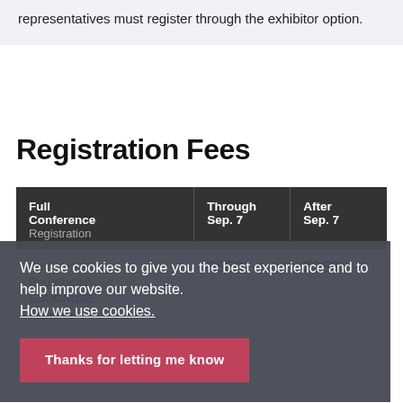representatives must register through the exhibitor option.
Registration Fees
| Full Conference Registration | Through Sep. 7 | After Sep. 7 |
| --- | --- | --- |
| Conference Registration, EDUCAUSE member | $859 | $989 |
We use cookies to give you the best experience and to help improve our website. How we use cookies. Thanks for letting me know